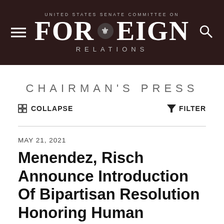UNITED STATES SENATE COMMITTEE ON FOREIGN RELATIONS
CHAIRMAN'S PRESS
COLLAPSE   FILTER
MAY 21, 2021
Menendez, Risch Announce Introduction Of Bipartisan Resolution Honoring Human